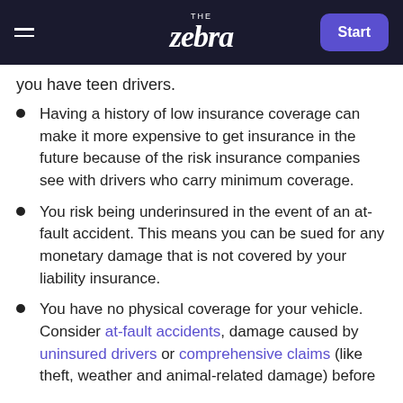THE zebra | Start
you have teen drivers.
Having a history of low insurance coverage can make it more expensive to get insurance in the future because of the risk insurance companies see with drivers who carry minimum coverage.
You risk being underinsured in the event of an at-fault accident. This means you can be sued for any monetary damage that is not covered by your liability insurance.
You have no physical coverage for your vehicle. Consider at-fault accidents, damage caused by uninsured drivers or comprehensive claims (like theft, weather and animal-related damage) before